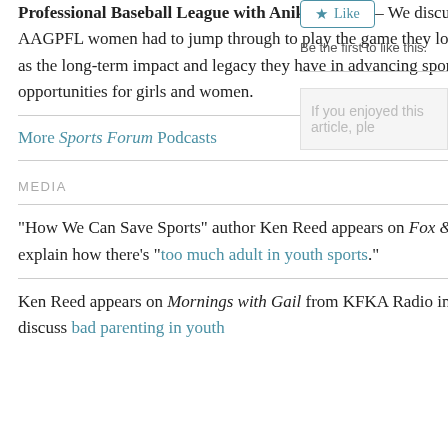Professional Baseball League with Anika Orrock – We discuss the hoops AAGPFL women had to jump through to play the game they loved as well as the long-term impact and legacy they have in advancing sports opportunities for girls and women.
More Sports Forum Podcasts
MEDIA
"How We Can Save Sports" author Ken Reed appears on Fox & Friends to explain how there's "too much adult in youth sports."
Ken Reed appears on Mornings with Gail from KFKA Radio in Colorado to discuss bad parenting in youth
[Figure (other): Like button widget]
Be the first to like this.
If you enjoyed this article, ple